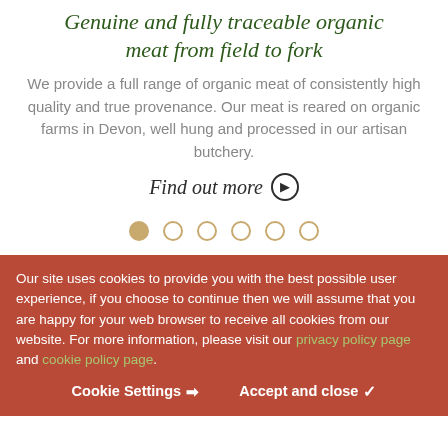Genuine and fully traceable organic meat from field to fork
We provide a full range of organic meat of consistently high quality and true provenance. Our meat is reared on organic farms in Devon, well hung and processed in our artisan butchery.
Find out more ▶
[Figure (other): Carousel navigation dots: one filled dot and five empty dots]
Our site uses cookies to provide you with the best possible user experience, if you choose to continue then we will assume that you are happy for your web browser to receive all cookies from our website. For more information, please visit our privacy policy page and cookie policy page.
Cookie Settings ❯  Accept and close ✓